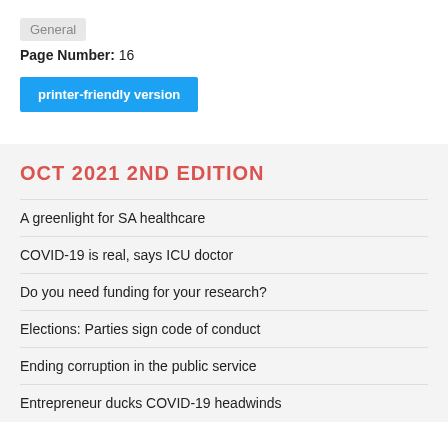General
Page Number: 16
printer-friendly version
OCT 2021 2ND EDITION
A greenlight for SA healthcare
COVID-19 is real, says ICU doctor
Do you need funding for your research?
Elections: Parties sign code of conduct
Ending corruption in the public service
Entrepreneur ducks COVID-19 headwinds